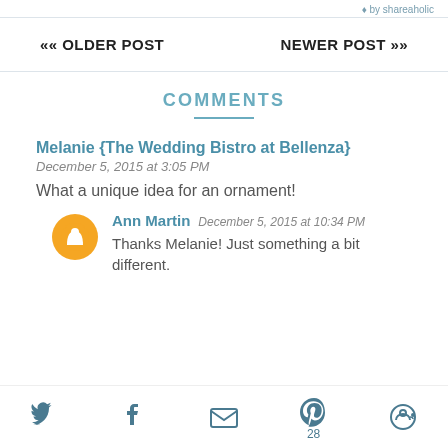♦ by shareaholic
«« OLDER POST
NEWER POST »»
COMMENTS
Melanie {The Wedding Bistro at Bellenza}
December 5, 2015 at 3:05 PM
What a unique idea for an ornament!
Ann Martin  December 5, 2015 at 10:34 PM
Thanks Melanie! Just something a bit different.
[Figure (other): Social share icons: Twitter, Facebook, Email, Pinterest (28), and another icon]